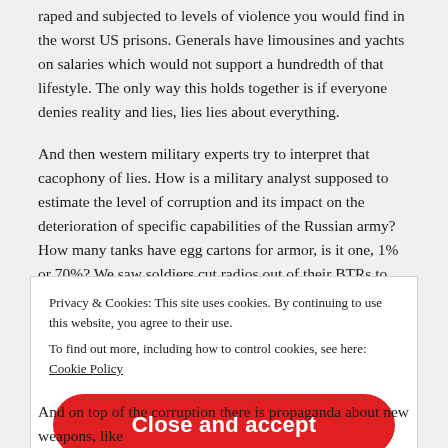raped and subjected to levels of violence you would find in the worst US prisons. Generals have limousines and yachts on salaries which would not support a hundredth of that lifestyle. The only way this holds together is if everyone denies reality and lies, lies lies about everything.
And then western military experts try to interpret that cacophony of lies. How is a military analyst supposed to estimate the level of corruption and its impact on the deterioration of specific capabilities of the Russian army? How many tanks have egg cartons for armor, is it one, 1% or 70%? We saw soldiers cut radios out of their BTRs to sell them for scrap (precious color metals). What is the cumulative effect on the comms ability?
Privacy & Cookies: This site uses cookies. By continuing to use this website, you agree to their use.
To find out more, including how to control cookies, see here: Cookie Policy
Close and accept
And on top of the corruption there is propaganda about new weapons, like